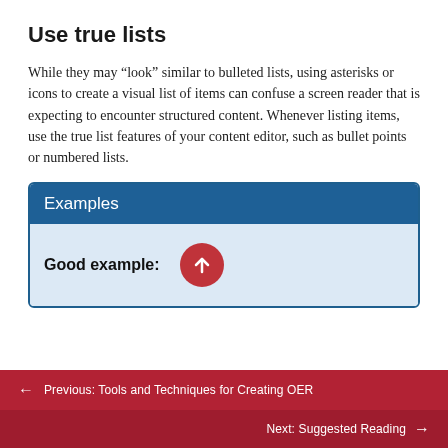Use true lists
While they may “look” similar to bulleted lists, using asterisks or icons to create a visual list of items can confuse a screen reader that is expecting to encounter structured content. Whenever listing items, use the true list features of your content editor, such as bullet points or numbered lists.
Examples
Good example:
← Previous: Tools and Techniques for Creating OER
Next: Suggested Reading →